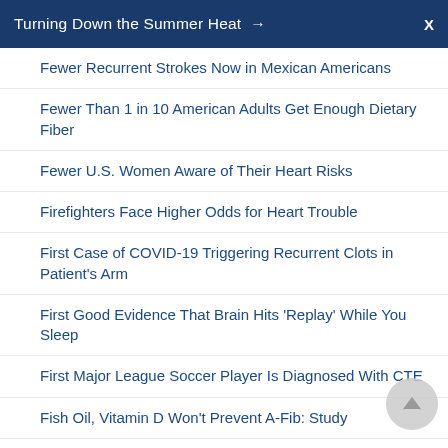Turning Down the Summer Heat → X
Fewer Recurrent Strokes Now in Mexican Americans
Fewer Than 1 in 10 American Adults Get Enough Dietary Fiber
Fewer U.S. Women Aware of Their Heart Risks
Firefighters Face Higher Odds for Heart Trouble
First Case of COVID-19 Triggering Recurrent Clots in Patient's Arm
First Good Evidence That Brain Hits 'Replay' While You Sleep
First Major League Soccer Player Is Diagnosed With CTE
Fish Oil, Vitamin D Won't Prevent A-Fib: Study
Fish on Your Plate May Keep Your Brain Sharp
Fitter in 1920: Today's Americans Spend Much Less…